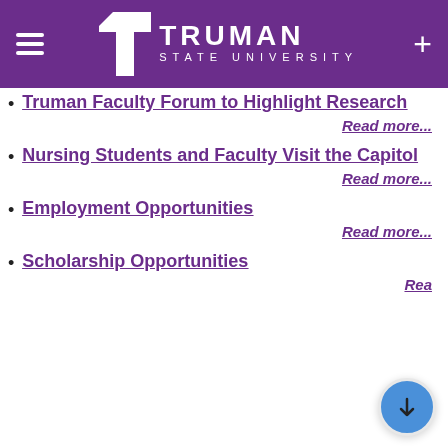[Figure (logo): Truman State University logo with white T graphic and text on purple background, hamburger menu icon on left, plus icon on right]
Truman Faculty Forum to Highlight Research
Read more...
Nursing Students and Faculty Visit the Capitol
Read more...
Employment Opportunities
Read more...
Scholarship Opportunities
Read more...